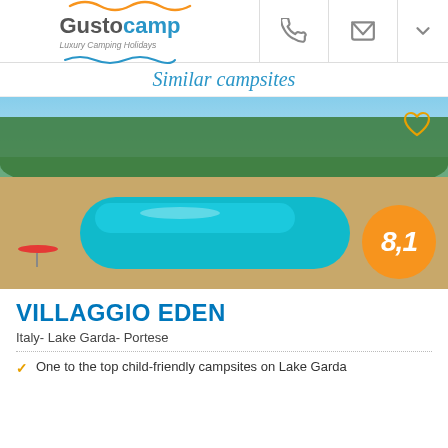Gustocamp Luxury Camping Holidays
Similar campsites
[Figure (photo): Aerial view of Villaggio Eden campsite showing a large outdoor swimming pool surrounded by sun loungers, parasols, and trees. Score badge 8,1 in orange circle.]
VILLAGGIO EDEN
Italy-  Lake Garda-  Portese
One to the top child-friendly campsites on Lake Garda